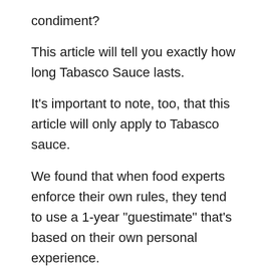condiment? This article will tell you exactly how long Tabasco Sauce lasts. It's important to note, too, that this article will only apply to Tabasco sauce. We found that when food experts enforce their own rules, they tend to use a 1-year "guestimate" that's based on their own personal experience. That said, a 2-year estimate is safer and slightly longer than the 1-year estimate.